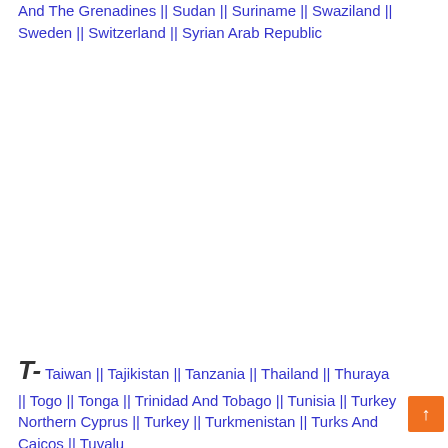And The Grenadines || Sudan || Suriname || Swaziland || Sweden || Switzerland || Syrian Arab Republic
T- Taiwan || Tajikistan || Tanzania || Thailand || Thuraya || Togo || Tonga || Trinidad And Tobago || Tunisia || Turkey Northern Cyprus || Turkey || Turkmenistan || Turks And Caicos || Tuvalu